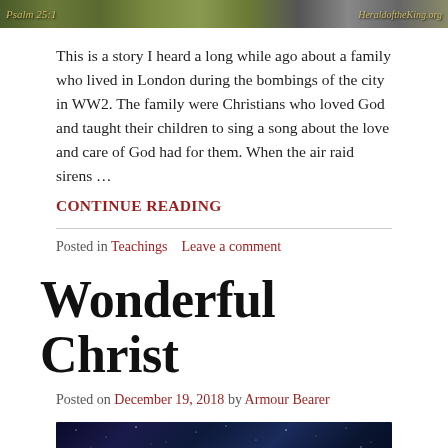[Figure (photo): Top banner image showing Psalm 25:1 text overlay on a nature/landscape background with heralding website URL]
This is a story I heard a long while ago about a family who lived in London during the bombings of the city in WW2. The family were Christians who loved God and taught their children to sing a song about the love and care of God had for them. When the air raid sirens …
CONTINUE READING
Posted in Teachings    Leave a comment
Wonderful Christ
Posted on December 19, 2018 by Armour Bearer
[Figure (photo): Bottom banner image showing 'For by him' text in gothic/blackletter script overlaid on a starry night sky background]